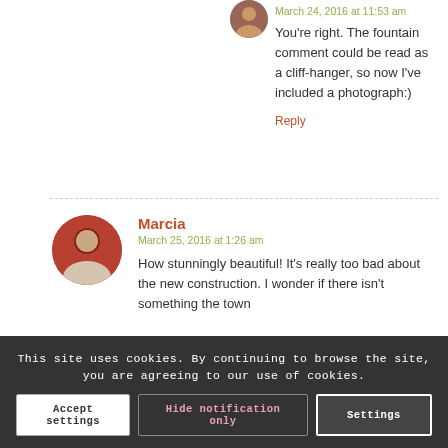March 24, 2016 at 11:53 am
You're right. The fountain comment could be read as a cliff-hanger, so now I've included a photograph:)
Reply
Marcia
March 25, 2016 at 1:26 am
How stunningly beautiful! It's really too bad about the new construction. I wonder if there isn't something the town
This site uses cookies. By continuing to browse the site, you are agreeing to our use of cookies.
Accept settings
Hide notification only
Settings